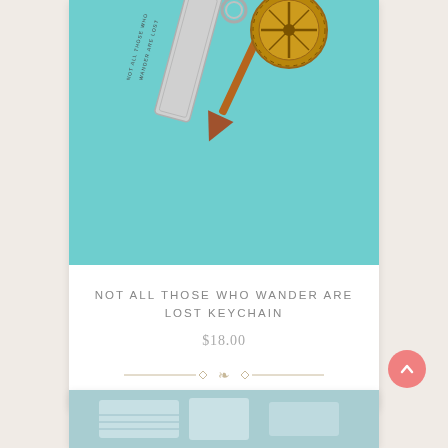[Figure (photo): Keychain with compass charm, arrow charm, and rectangular tag reading 'NOT ALL THOSE WHO WANDER ARE LOST' on a teal/turquoise background]
NOT ALL THOSE WHO WANDER ARE LOST KEYCHAIN
$18.00
[Figure (photo): Partial view of a second product image with map or travel-themed items on a light blue background]